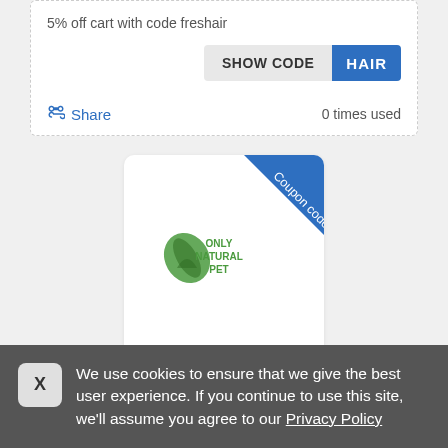5% off cart with code freshair
[Figure (screenshot): SHOW CODE button with blue HAIR label on right]
Share   0 times used
[Figure (logo): Only Natural Pet coupon code card with blue diagonal banner saying Coupon code and Only Natural Pet logo]
Only Natural Pet coupon codes
We use cookies to ensure that we give the best user experience. If you continue to use this site, we'll assume you agree to our Privacy Policy